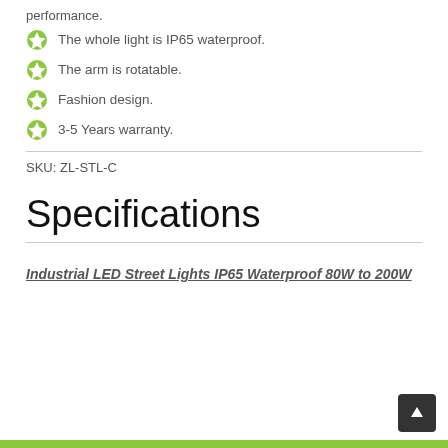performance.
The whole light is IP65 waterproof.
The arm is rotatable.
Fashion design.
3-5 Years warranty.
SKU: ZL-STL-C
Specifications
Industrial LED Street Lights IP65 Waterproof 80W to 200W